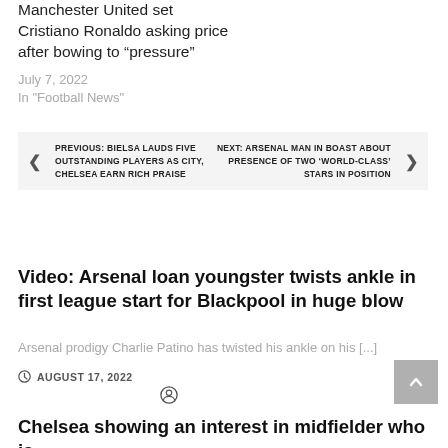Manchester United set Cristiano Ronaldo asking price after bowing to “pressure”
July 7, 2022
In "Football News"
PREVIOUS: BIELSA LAUDS FIVE OUTSTANDING PLAYERS AS CITY, CHELSEA EARN RICH PRAISE
NEXT: ARSENAL MAN IN BOAST ABOUT PRESENCE OF TWO ‘WORLD-CLASS’ STARS IN POSITION
Video: Arsenal loan youngster twists ankle in first league start for Blackpool in huge blow
Arsenal prodigy Charlie Patino has twisted his ankle on his [...]
AUGUST 17, 2022
Chelsea showing an interest in midfielder who is